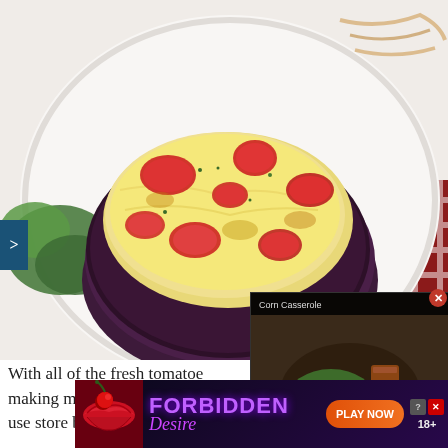[Figure (photo): A baked eggplant half topped with melted cheese and red tomato pieces, served on a white plate with green salad leaves, placed on a red checkered tablecloth background.]
With all of the fresh tomatoes making my own pizza sauce use store bought to save so
[Figure (screenshot): A video overlay showing a baked casserole dish with text 'Corn Casserole' and a play button.]
[Figure (infographic): Advertisement banner for 'Forbidden Desire' game with lips graphic, purple neon text, orange PLAY NOW button, and 18+ label.]